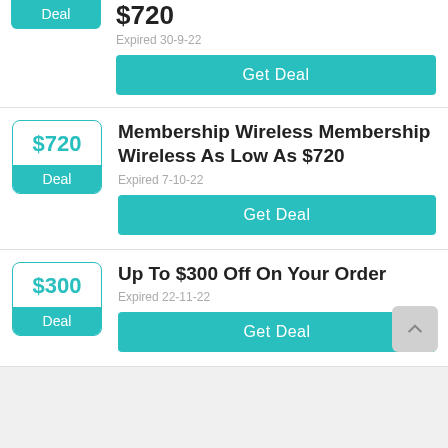$720
Deal
Expired 30-9-22
Get Deal
$720
Deal
Membership Wireless Membership Wireless As Low As $720
Expired 7-10-22
Get Deal
$300
Deal
Up To $300 Off On Your Order
Expired 22-11-22
Get Deal